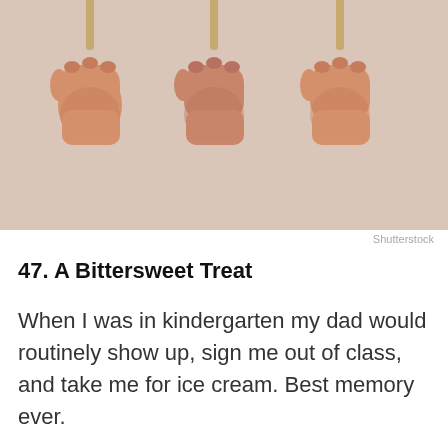[Figure (photo): Three hands each holding a popsicle stick upward, against a beige/cream background, repeated side by side]
Shutterstock
47. A Bittersweet Treat
When I was in kindergarten my dad would routinely show up, sign me out of class, and take me for ice cream. Best memory ever.